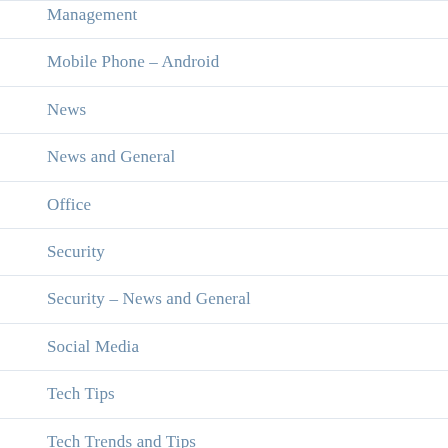Management
Mobile Phone – Android
News
News and General
Office
Security
Security – News and General
Social Media
Tech Tips
Tech Trends and Tips